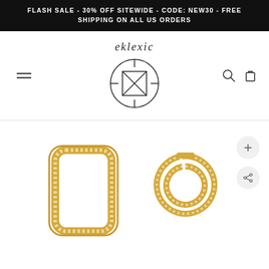FLASH SALE - 30% OFF SITEWIDE - CODE: NEW30 - FREE SHIPPING ON ALL US ORDERS
[Figure (logo): eklexic brand logo with stylized X inside a square inside a circle]
[Figure (photo): Two gold diamond-encrusted earrings - one rectangular hoop and one round double hoop, shown as product photography on white background]